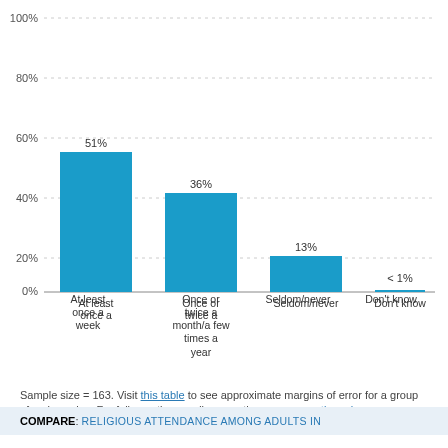[Figure (bar-chart): ]
Sample size = 163. Visit this table to see approximate margins of error for a group of a given size. For full question wording, see the survey questionnaire.
COMPARE: RELIGIOUS ATTENDANCE AMONG ADULTS IN